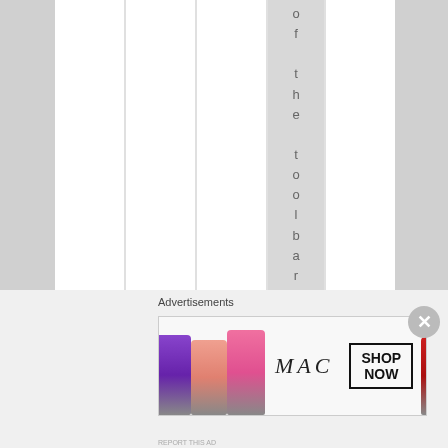[Figure (screenshot): Screenshot of a web browser interface showing a highlighted toolbar column with vertical text reading 'of the toolbar at the' and an advertisements section at the bottom featuring a MAC Cosmetics lipstick banner ad with a SHOP NOW button and a close (X) button.]
Advertisements